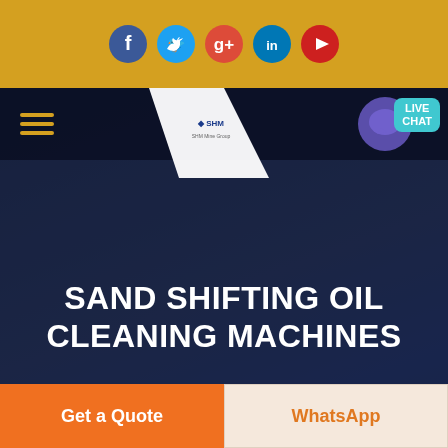[Figure (screenshot): Social media icon bar with Facebook, Twitter, Google+, LinkedIn, YouTube circular icons on golden/amber background]
[Figure (screenshot): Navigation bar with hamburger menu, SHM logo with triangular white shape, and LIVE CHAT button with speech bubble icon]
SAND SHIFTING OIL CLEANING MACHINES
HOME  -  sand shifting oil cleaning machines
[Figure (photo): Partially visible industrial/product image at bottom]
Get a Quote
WhatsApp